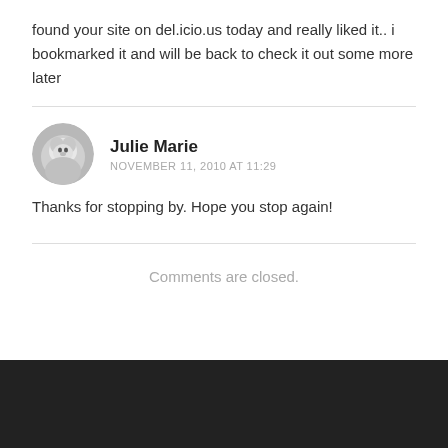found your site on del.icio.us today and really liked it.. i bookmarked it and will be back to check it out some more later
[Figure (photo): Circular avatar photo of a white fluffy animal (possibly a dog or cat)]
Julie Marie
NOVEMBER 11, 2010 AT 11:29
Thanks for stopping by. Hope you stop again!
Comments are closed.